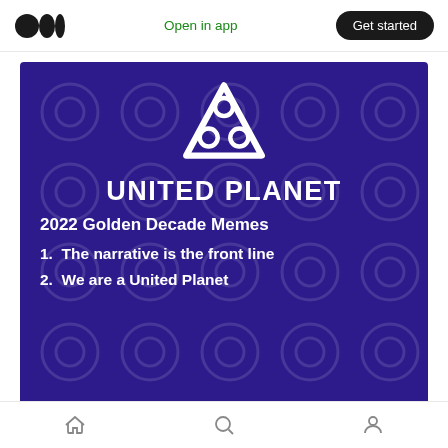Open in app  Get started
[Figure (illustration): United Planet logo and article preview on dark purple background with title 'UNITED PLANET', subtitle '2022 Golden Decade Memes', and two numbered items: '1. The narrative is the front line' and '2. We are a United Planet']
UNITED PLANET
2022 Golden Decade Memes
1.  The narrative is the front line
2.  We are a United Planet
Home  Search  Profile